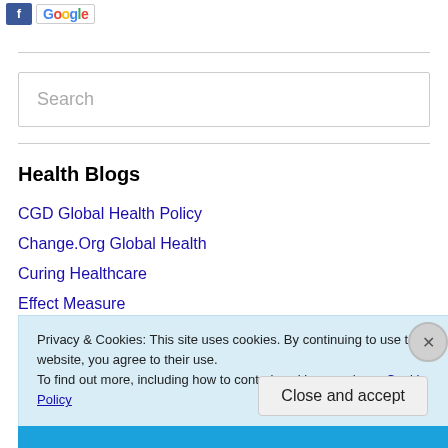[Figure (logo): Facebook logo button and Google logo button side by side]
Search
Health Blogs
CGD Global Health Policy
Change.Org Global Health
Curing Healthcare
Effect Measure
Privacy & Cookies: This site uses cookies. By continuing to use this website, you agree to their use.
To find out more, including how to control cookies, see here: Cookie Policy
Close and accept